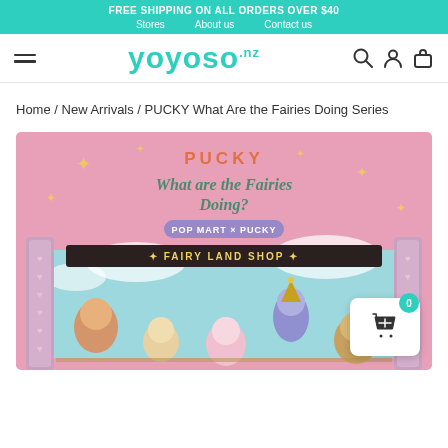FREE SHIPPING ON ALL ORDERS OVER $40
Stores  About us  Contact us
yoyoso .nz
Home / New Arrivals / PUCKY What Are the Fairies Doing Series
[Figure (photo): Product promotional image for PUCKY 'What are the Fairies Doing?' series by POP MART x PUCKY. Shows a pink decorative frame with 'FAIRY LAND SHOP' banner and multiple cute fairy figurines in a sky background.]